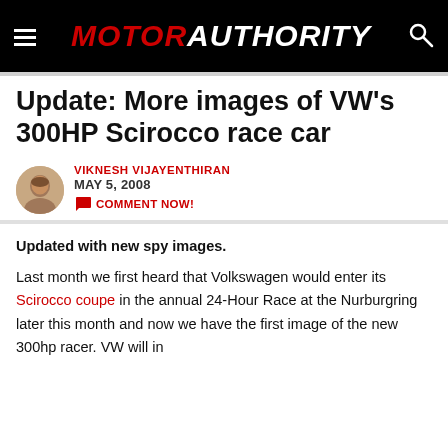MOTOR AUTHORITY
Update: More images of VW's 300HP Scirocco race car
VIKNESH VIJAYENTHIRAN
MAY 5, 2008
COMMENT NOW!
Updated with new spy images.
Last month we first heard that Volkswagen would enter its Scirocco coupe in the annual 24-Hour Race at the Nurburgring later this month and now we have the first image of the new 300hp racer. VW will in